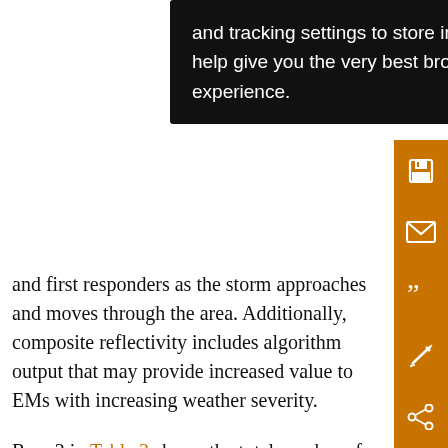and tracking settings to store information that help give you the very best browsing experience.
and first responders as the storm approaches and moves through the area. Additionally, composite reflectivity includes algorithm output that may provide increased value to EMs with increasing weather severity.
Row 3 in Table 3 shows the total number of weather assessments reported for both experienced and novice EMs during the simulated weather scenario. Most EMs do not make weather assessments based solely on perceptual cues gathered from radar data without confirmation by local NWS forecasters, spotters, or other sources, to provide advice and “ground truth.” Also, as EMs make